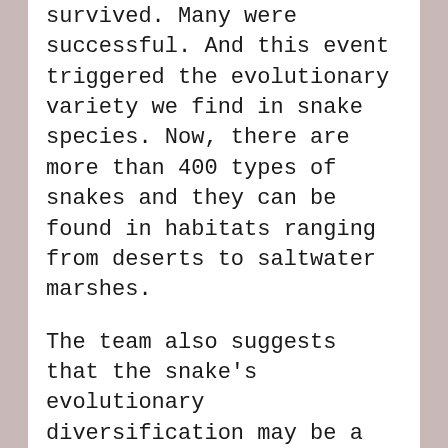survived. Many were successful. And this event triggered the evolutionary variety we find in snake species. Now, there are more than 400 types of snakes and they can be found in habitats ranging from deserts to saltwater marshes.
The team also suggests that the snake's evolutionary diversification may be a model for what can happen in other environmental catastrophes.  Some species definitely emerge stronger.
You can read more about this here at: https://www.bath.ac.uk/announcements/modern-snakes-evolved-from-a-few-survivors-of-dino-killing-asteroid/